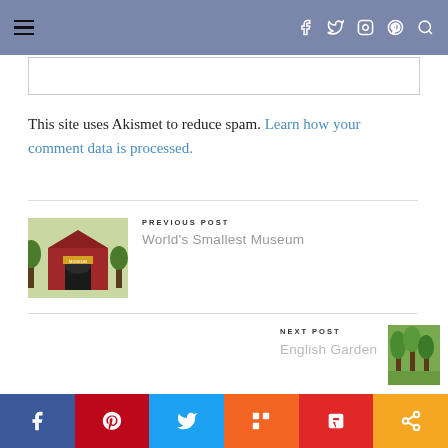Navigation bar with hamburger menu and social icons (Facebook, Twitter, Instagram, Pinterest, Search)
This site uses Akismet to reduce spam. Learn how your comment data is processed.
PREVIOUS POST
World's Smallest Museum
[Figure (photo): Small museum building with red facade and trees]
NEXT POST
English Garden
[Figure (photo): Trees in a garden setting]
Social sharing buttons: Facebook, Pinterest, Twitter, Mix, Flipboard, Share